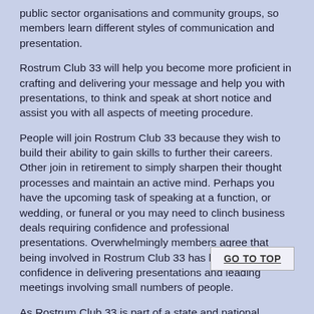public sector organisations and community groups, so members learn different styles of communication and presentation.
Rostrum Club 33 will help you become more proficient in crafting and delivering your message and help you with presentations, to think and speak at short notice and assist you with all aspects of meeting procedure.
People will join Rostrum Club 33 because they wish to build their ability to gain skills to further their careers. Other join in retirement to simply sharpen their thought processes and maintain an active mind. Perhaps you have the upcoming task of speaking at a function, or wedding, or funeral or you may need to clinch business deals requiring confidence and professional presentations. Overwhelmingly members agree that being involved in Rostrum Club 33 has built their confidence in delivering presentations and leading meetings involving small numbers of people.
As Rostrum Club 33 is part of a state and national association, members have access to exciting opportunities like “Speaker of the Year” competitions, impromptu competitions, professional development sessions and nationally with